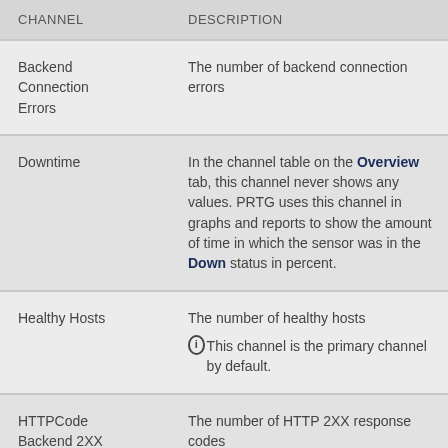| CHANNEL | DESCRIPTION |
| --- | --- |
| Backend Connection Errors | The number of backend connection errors |
| Downtime | In the channel table on the Overview tab, this channel never shows any values. PRTG uses this channel in graphs and reports to show the amount of time in which the sensor was in the Down status in percent. |
| Healthy Hosts | The number of healthy hosts
This channel is the primary channel by default. |
| HTTPCode Backend 2XX | The number of HTTP 2XX response codes |
| HTTPCode | The number of HTTP 4XX response codes |